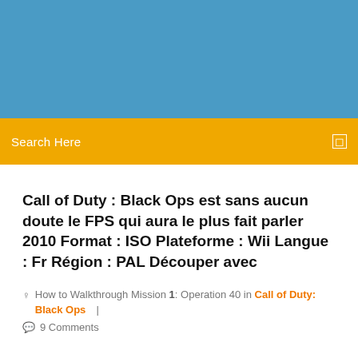[Figure (other): Blue banner header background]
Search Here
Call of Duty : Black Ops est sans aucun doute le FPS qui aura le plus fait parler 2010 Format : ISO Plateforme : Wii Langue : Fr Région : PAL Découper avec
How to Walkthrough Mission 1: Operation 40 in Call of Duty: Black Ops  |
9 Comments